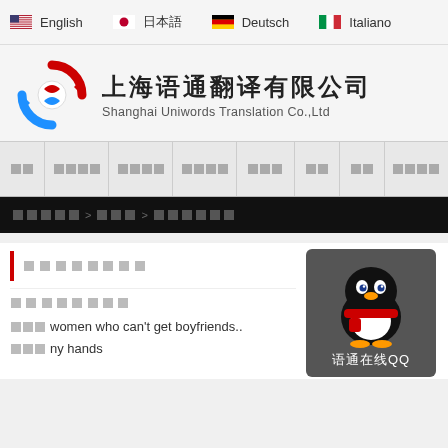English | 日本語 | Deutsch | Italiano
[Figure (logo): Shanghai Uniwords Translation Co.,Ltd logo — circular arrows in red and blue]
上海语通翻译有限公司
Shanghai Uniwords Translation Co.,Ltd
Navigation bar with menu items in Chinese
Breadcrumb navigation bar (dark background)
[Chinese section title]
[Chinese subtitle text]
[boxes] women who can't get boyfriends..
[boxes] ny hands
[Figure (illustration): QQ penguin mascot icon with red scarf on dark grey background, with text 语通在线QQ]